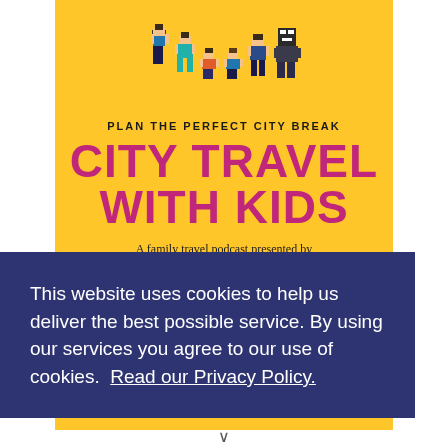[Figure (illustration): Pixel art style family illustration showing parents and children in colorful outfits on yellow background]
PLAN THE PERFECT CITY BREAK
CITY TRAVEL WITH KIDS
A family travel podcast presented by LITTLE CITY TRIPS
This website uses cookies to help us deliver the best possible service. By using our services you agree to our use of cookies.  Read our Privacy Policy.